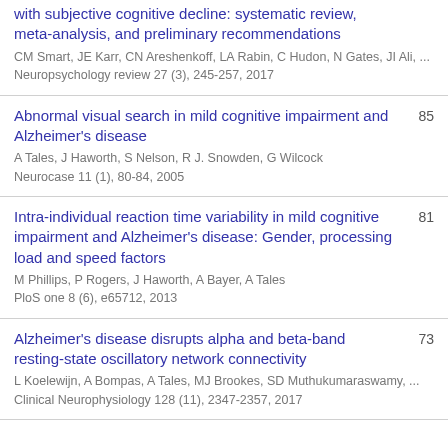with subjective cognitive decline: systematic review, meta-analysis, and preliminary recommendations
CM Smart, JE Karr, CN Areshenkoff, LA Rabin, C Hudon, N Gates, JI Ali, ...
Neuropsychology review 27 (3), 245-257, 2017
Abnormal visual search in mild cognitive impairment and Alzheimer's disease
A Tales, J Haworth, S Nelson, R J. Snowden, G Wilcock
Neurocase 11 (1), 80-84, 2005
85
Intra-individual reaction time variability in mild cognitive impairment and Alzheimer's disease: Gender, processing load and speed factors
M Phillips, P Rogers, J Haworth, A Bayer, A Tales
PloS one 8 (6), e65712, 2013
81
Alzheimer's disease disrupts alpha and beta-band resting-state oscillatory network connectivity
L Koelewijn, A Bompas, A Tales, MJ Brookes, SD Muthukumaraswamy, ...
Clinical Neurophysiology 128 (11), 2347-2357, 2017
73